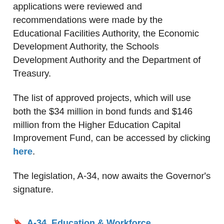applications were reviewed and recommendations were made by the Educational Facilities Authority, the Economic Development Authority, the Schools Development Authority and the Department of Treasury.
The list of approved projects, which will use both the $34 million in bond funds and $146 million from the Higher Education Capital Improvement Fund, can be accessed by clicking here.
The legislation, A-34, now awaits the Governor's signature.
A-34, Education & Workforce Development, Higher Ed, Legislature, Michele Siekerka, press release